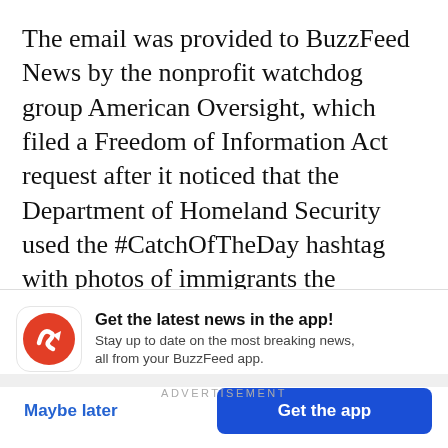The email was provided to BuzzFeed News by the nonprofit watchdog group American Oversight, which filed a Freedom of Information Act request after it noticed that the Department of Homeland Security used the #CatchOfTheDay hashtag with photos of immigrants the government had apprehended.
ADVERTISEMENT
Get the latest news in the app! Stay up to date on the most breaking news, all from your BuzzFeed app.
Maybe later
Get the app